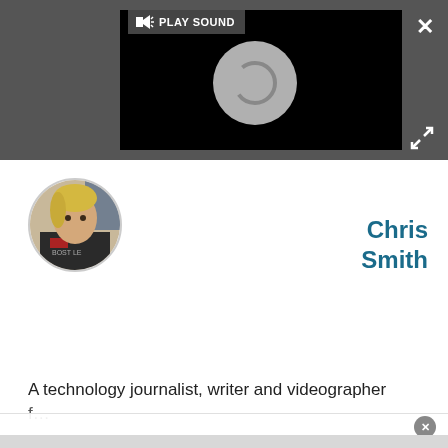[Figure (screenshot): Dark gray top bar with a video player area showing a black background with a gray loading spinner circle, a 'PLAY SOUND' button with speaker icon in the top-left of the video, an X close button in the top-right corner, and an expand/resize arrows icon below the X button.]
[Figure (photo): Circular profile photo of a person with blonde hair wearing a dark shirt, positioned in the upper-left of the profile section.]
Chris Smith
A technology journalist, writer and videographer f...
[Figure (screenshot): Bottom overlay region with a gray-tinted white bar and a small gray circular close button on the right.]